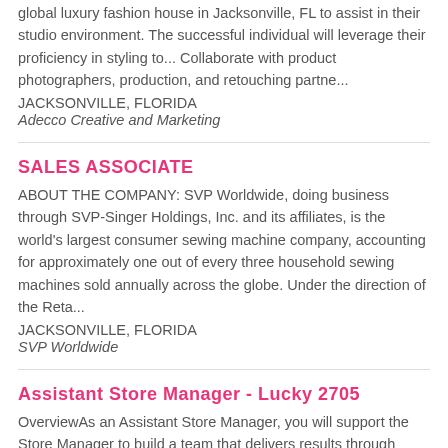global luxury fashion house in Jacksonville, FL to assist in their studio environment. The successful individual will leverage their proficiency in styling to... Collaborate with product photographers, production, and retouching partne...
JACKSONVILLE, FLORIDA
Adecco Creative and Marketing
SALES ASSOCIATE
ABOUT THE COMPANY: SVP Worldwide, doing business through SVP-Singer Holdings, Inc. and its affiliates, is the world's largest consumer sewing machine company, accounting for approximately one out of every three household sewing machines sold annually across the globe. Under the direction of the Reta...
JACKSONVILLE, FLORIDA
SVP Worldwide
Assistant Store Manager - Lucky 2705
OverviewAs an Assistant Store Manager, you will support the Store Manager to build a team that delivers results through providing an amazing customer experience. You create a positive environment